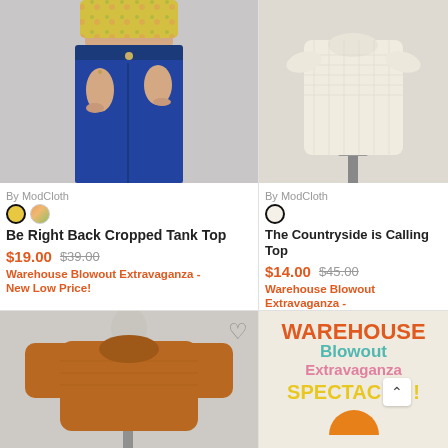[Figure (photo): Model wearing blue high-waist jeans and cropped yellow floral top, showing torso, grey background]
By ModCloth
Be Right Back Cropped Tank Top
$19.00  $39.00
Warehouse Blowout Extravaganza - New Low Price!
[Figure (photo): Cream/off-white structured top on mannequin form, beige/grey background]
By ModCloth
The Countryside is Calling Top
$14.00  $45.00
Warehouse Blowout Extravaganza - New Low Price!
[Figure (photo): Rust/caramel colored pullover sweater on mannequin, grey background, heart/wishlist icon]
[Figure (infographic): Warehouse Blowout Extravaganza Spectacular promotional banner on cream background with colorful text]